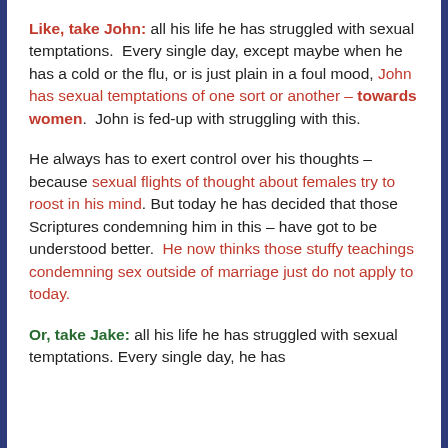Like, take John: all his life he has struggled with sexual temptations. Every single day, except maybe when he has a cold or the flu, or is just plain in a foul mood, John has sexual temptations of one sort or another – towards women. John is fed-up with struggling with this.
He always has to exert control over his thoughts – because sexual flights of thought about females try to roost in his mind. But today he has decided that those Scriptures condemning him in this – have got to be understood better. He now thinks those stuffy teachings condemning sex outside of marriage just do not apply to today.
Or, take Jake: all his life he has struggled with sexual temptations. Every single day, he has...